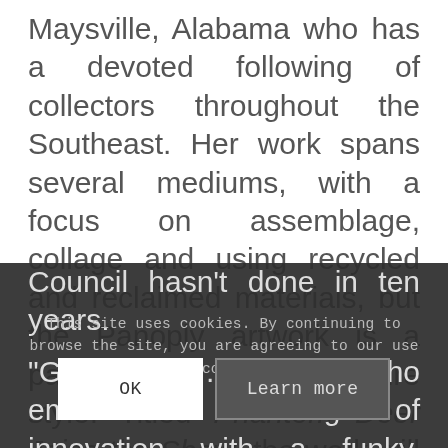Maysville, Alabama who has a devoted following of collectors throughout the Southeast. Her work spans several mediums, with a focus on assemblage, collage and using recycled and reclaimed materials, but the Panoply artwork is a painting in her signature style. Titled Phantom Deer Joins the Show, the work will also be featured in graphic form on the festival t-shirts, something The Arts Council hasn't done in ten years. "Gina Per... artist who embodies ... image of innovation with a funky, smart vibe," said Steve
This site uses cookies. By continuing to browse the site, you are agreeing to our use of cookies.